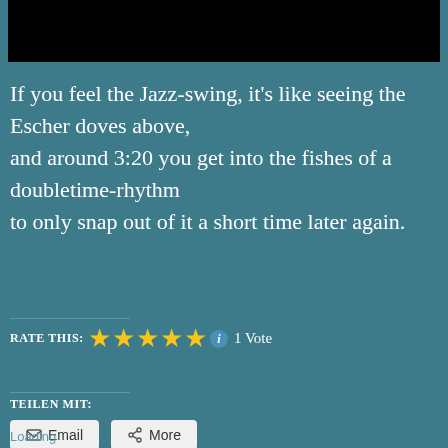[Figure (screenshot): Black bar image at the top of the page]
If you feel the Jazz-swing, it's like seeing the Escher doves above, and around 3:20 you get into the fishes of a doubletime-rhythm to only snap out of it a short time later again.
RATE THIS: ★★★★★ 1 Vote
TEILEN MIT:
Email   More
Loading